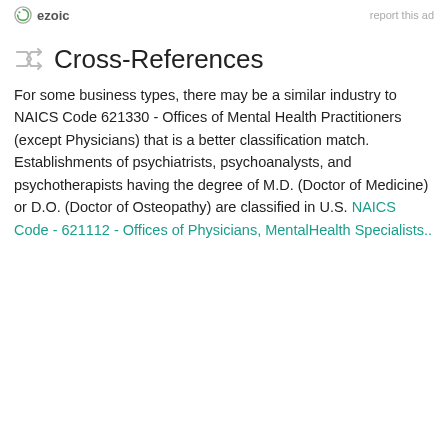ezoic   report this ad
Cross-References
For some business types, there may be a similar industry to NAICS Code 621330 - Offices of Mental Health Practitioners (except Physicians) that is a better classification match. Establishments of psychiatrists, psychoanalysts, and psychotherapists having the degree of M.D. (Doctor of Medicine) or D.O. (Doctor of Osteopathy) are classified in U.S. NAICS Code - 621112 - Offices of Physicians, MentalHealth Specialists..